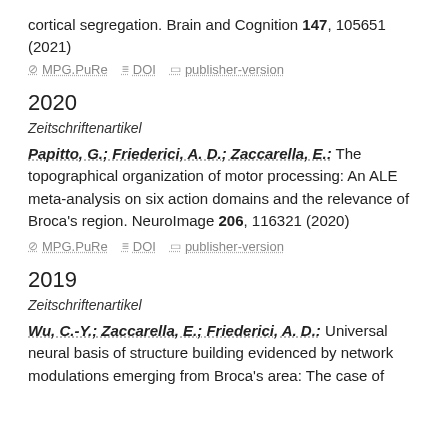cortical segregation. Brain and Cognition 147, 105651 (2021)
MPG.PuRe   DOI   publisher-version
2020
Zeitschriftenartikel
Papitto, G.; Friederici, A. D.; Zaccarella, E.: The topographical organization of motor processing: An ALE meta-analysis on six action domains and the relevance of Broca's region. NeuroImage 206, 116321 (2020)
MPG.PuRe   DOI   publisher-version
2019
Zeitschriftenartikel
Wu, C.-Y.; Zaccarella, E.; Friederici, A. D.: Universal neural basis of structure building evidenced by network modulations emerging from Broca's area: The case of